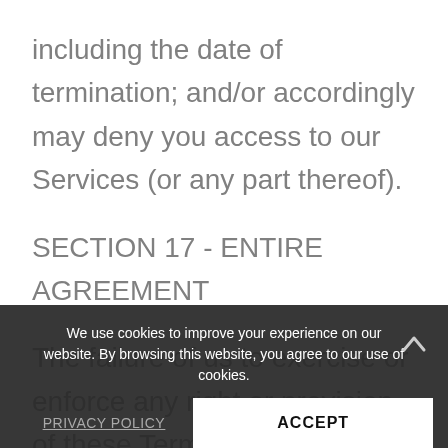including the date of termination; and/or accordingly may deny you access to our Services (or any part thereof).
SECTION 17 - ENTIRE AGREEMENT
The failure of us to exercise or enforce any right or provision of these Terms of Service shall not constitute a waiver of such right or provision. These Terms of Service and any policies or operating rules posted by us on this site or in respect to The Service constitutes the entire agreement and understanding between you and